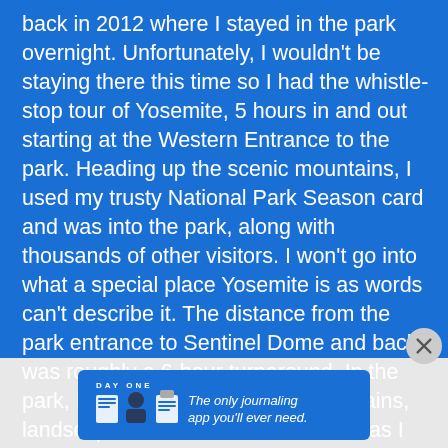back in 2012 where I stayed in the park overnight. Unfortunately, I wouldn't be staying there this time so I had the whistle-stop tour of Yosemite, 5 hours in and out starting at the Western Entrance to the park. Heading up the scenic mountains, I used my trusty National Park Season card and was into the park, along with thousands of other visitors. I won't go into what a special place Yosemite is as words can't describe it. The distance from the park entrance to Sentinel Dome and back was roughly a 6-hour turnaround. In the park, I looked at the amazing mountains, landscapes, didn't see much wildlife as I believe tourists may have scared ground animals off, bought graphic t-shirts. I drank a coffee, sandwiches were excessively high so went hungry, took selfies and then
[Figure (infographic): Day One journaling app advertisement banner with icons of a journal, person, and notepad. Text reads 'DAY ONE - The only journaling app you'll ever need.']